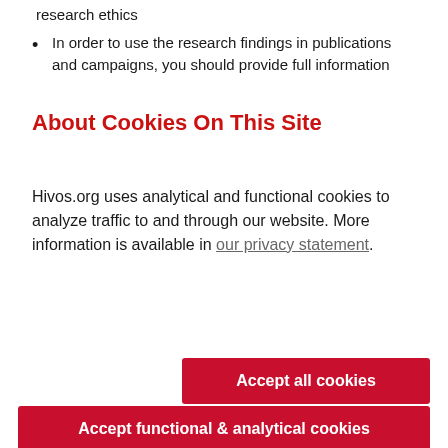research ethics
In order to use the research findings in publications and campaigns, you should provide full information and
About Cookies On This Site
Hivos.org uses analytical and functional cookies to analyze traffic to and through our website. More information is available in our privacy statement.
Accept all cookies
Accept functional & analytical cookies